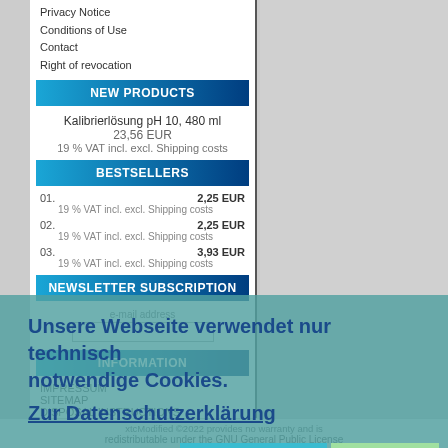Privacy Notice
Conditions of Use
Contact
Right of revocation
NEW PRODUCTS
Kalibrierlösung pH 10, 480 ml
23,56 EUR
19 % VAT incl. excl. Shipping costs
BESTSELLERS
01. 2,25 EUR
19 % VAT incl. excl. Shipping costs
02. 2,25 EUR
19 % VAT incl. excl. Shipping costs
03. 3,93 EUR
19 % VAT incl. excl. Shipping costs
NEWSLETTER SUBSCRIPTION
e-mail address
INFORMATION
IMPRESSUM
SITEMAP
DISPOSAL INSTRUCTIONS
MANUFACTURER
Please choose
Unsere Webseite verwendet nur technisch notwendige Cookies.
Zur Datenschutzerklärung
Ablehnen
Allow cookies
xtcModified ©2022 provides no warranty and is redistributable under the GNU General Public License